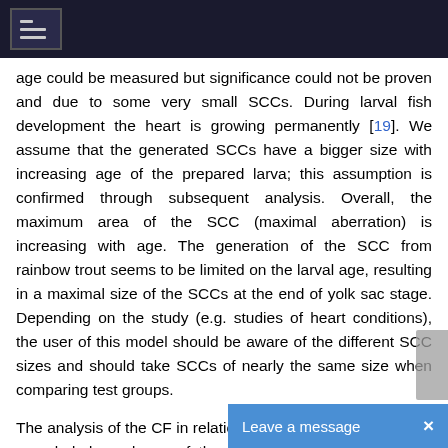age could be measured but significance could not be proven and due to some very small SCCs. During larval fish development the heart is growing permanently [19]. We assume that the generated SCCs have a bigger size with increasing age of the prepared larva; this assumption is confirmed through subsequent analysis. Overall, the maximum area of the SCC (maximal aberration) is increasing with age. The generation of the SCC from rainbow trout seems to be limited on the larval age, resulting in a maximal size of the SCCs at the end of yolk sac stage. Depending on the study (e.g. studies of heart conditions), the user of this model should be aware of the different SCC sizes and should take SCCs of nearly the same size when comparing test groups.
The analysis of the CF in relation to the age of the larva also revealed dependence of the examined groups. The early embryonic heart of a rainbow trout has a frequency of 20 beats/ min. During the development to the eye point stage (~250 ATU) the frequency increas...